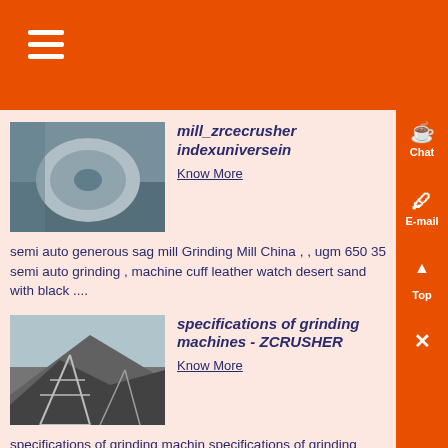mill_zrcecrusher indexuniversein
Know More
semi auto generous sag mill Grinding Mill China , , ugm 650 35 semi auto grinding , machine cuff leather watch desert sand with black ....
[Figure (photo): Industrial conveyor belt roll in a factory setting]
specifications of grinding machines - ZCRUSHER
Know More
specifications of grinding machin specifications of grinding machin This page is provide professiona
[Figure (photo): Outdoor industrial mining or quarry structure with metal framework on hillside]